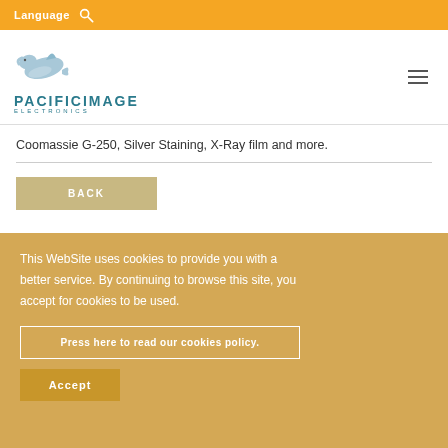Language [search icon]
[Figure (logo): Pacific Image Electronics logo with dolphin graphic]
Coomassie G-250, Silver Staining, X-Ray film and more.
BACK
This WebSite uses cookies to provide you with a better service. By continuing to browse this site, you accept for cookies to be used.
Press here to read our cookies policy.
Accept